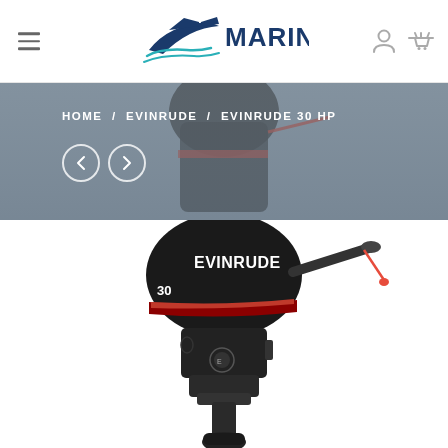[Figure (logo): Marine store logo with boat graphic and MARINE text in dark navy blue]
HOME / EVINRUDE / EVINRUDE 30 HP
[Figure (photo): Evinrude 30 HP outboard motor, black with red accent stripe, showing EVINRUDE branding, tiller handle with red kill switch lanyard]